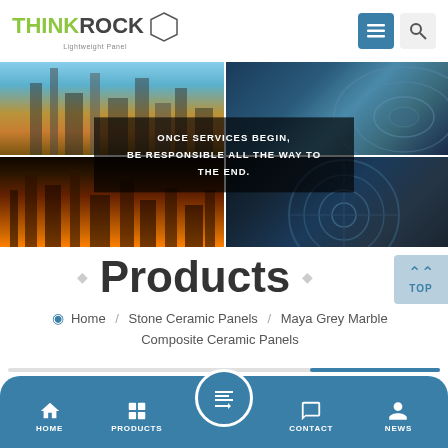[Figure (logo): ThinkRock Lightweight Panel logo with hexagon outline]
[Figure (infographic): Hero banner with 4 city/aerial images arranged in 2x2 grid with white dividers and centered dark overlay text reading: ONCE SERVICES BEGIN, BE RESPONSIBLE ALL THE WAY TO THE END.]
Products
Home / Stone Ceramic Panels / Maya Grey Marble Composite Ceramic Panels
[Figure (screenshot): TOP button in top-right corner]
[Figure (infographic): Bottom navigation bar with HOME, PRODUCTS, center icon, CONTACT, NEWS]